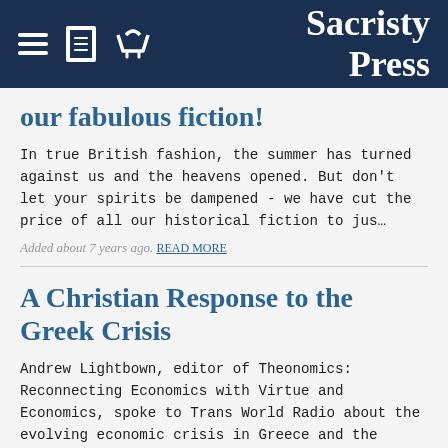Sacristy Press
our fabulous fiction!
In true British fashion, the summer has turned against us and the heavens opened. But don't let your spirits be dampened - we have cut the price of all our historical fiction to jus…
Added about 7 years ago. READ MORE
A Christian Response to the Greek Crisis
Andrew Lightbown, editor of Theonomics: Reconnecting Economics with Virtue and Economics, spoke to Trans World Radio about the evolving economic crisis in Greece and the Eurozone. An MP3 of the int…
Added about 7 years ago. READ MORE